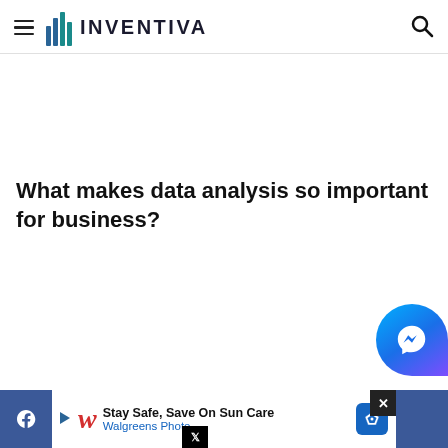INVENTIVA
What makes data analysis so important for business?
[Figure (screenshot): Advertisement banner: Stay Safe, Save On Sun Care - Walgreens Photo]
Facebook social share bar with advertisement overlay: Stay Safe, Save On Sun Care - Walgreens Photo